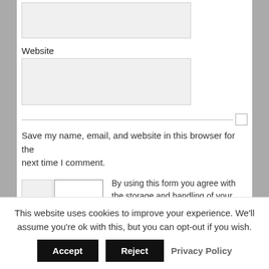Website
Save my name, email, and website in this browser for the next time I comment.
By using this form you agree with the storage and handling of your data by this website. *
Notify me of followup comments via e-mail. You can
This website uses cookies to improve your experience. We'll assume you're ok with this, but you can opt-out if you wish.
Accept
Reject
Privacy Policy